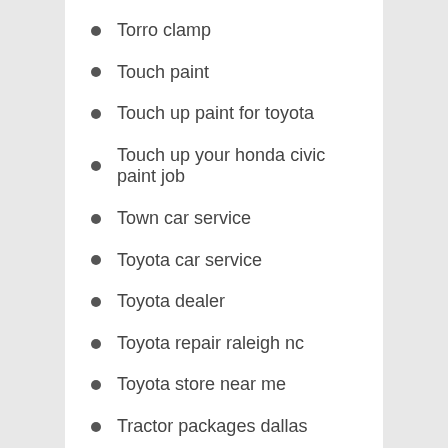Torro clamp
Touch paint
Touch up paint for toyota
Touch up your honda civic paint job
Town car service
Toyota car service
Toyota dealer
Toyota repair raleigh nc
Toyota store near me
Tractor packages dallas
Tractor trailer crash attorney central ky